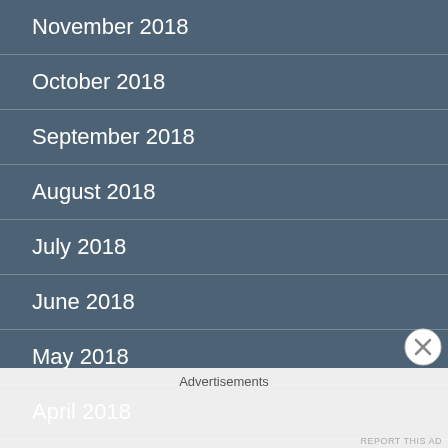November 2018
October 2018
September 2018
August 2018
July 2018
June 2018
May 2018
April 2018
March 2018
Advertisements
REPORT THIS AD